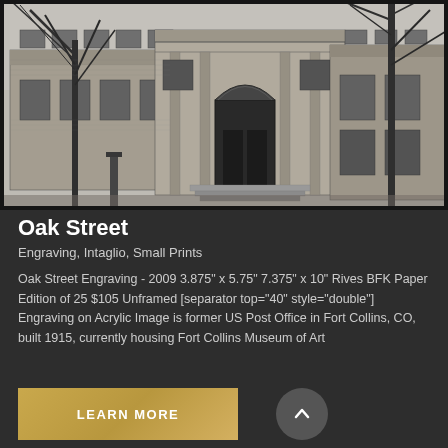[Figure (illustration): Black and white engraving/sketch of the Oak Street building - former US Post Office in Fort Collins, CO, built 1915, now housing Fort Collins Museum of Art. Shows classical architecture with arched entrance, columns, and bare trees in foreground.]
Oak Street
Engraving, Intaglio, Small Prints
Oak Street Engraving - 2009 3.875" x 5.75" 7.375" x 10" Rives BFK Paper Edition of 25 $105 Unframed [separator top="40" style="double"] Engraving on Acrylic Image is former US Post Office in Fort Collins, CO, built 1915, currently housing Fort Collins Museum of Art
LEARN MORE